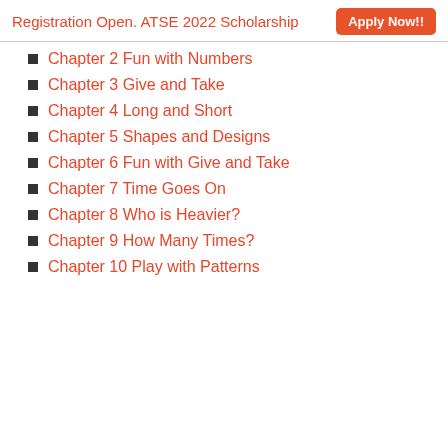Registration Open. ATSE 2022 Scholarship   Apply Now!!
Chapter 2 Fun with Numbers
Chapter 3 Give and Take
Chapter 4 Long and Short
Chapter 5 Shapes and Designs
Chapter 6 Fun with Give and Take
Chapter 7 Time Goes On
Chapter 8 Who is Heavier?
Chapter 9 How Many Times?
Chapter 10 Play with Patterns